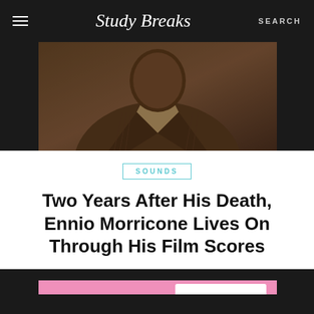Study Breaks — SEARCH
[Figure (photo): Close-up of a person in a pinstripe suit, dimly lit brown tones — top hero image]
SOUNDS
Two Years After His Death, Ennio Morricone Lives On Through His Film Scores
[Figure (illustration): Pink background illustration showing a dark silhouette head and an eye chart reading E, FP — bottom article image]